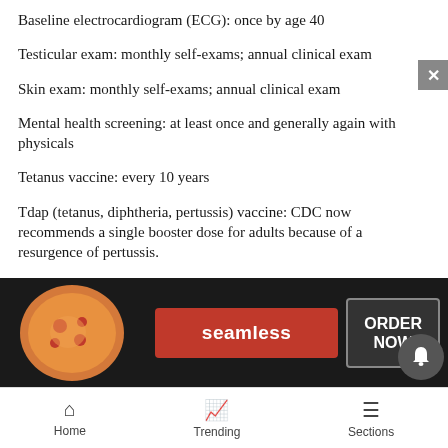Baseline electrocardiogram (ECG): once by age 40
Testicular exam: monthly self-exams; annual clinical exam
Skin exam: monthly self-exams; annual clinical exam
Mental health screening: at least once and generally again with physicals
Tetanus vaccine: every 10 years
Tdap (tetanus, diphtheria, pertussis) vaccine: CDC now recommends a single booster dose for adults because of a resurgence of pertussis.
Dental exam, visit the dentist every year for an exam and cl[obscured by ad]
[Figure (screenshot): Seamless food delivery advertisement overlay with pizza image, red Seamless button, and ORDER NOW button]
Home   Trending   Sections